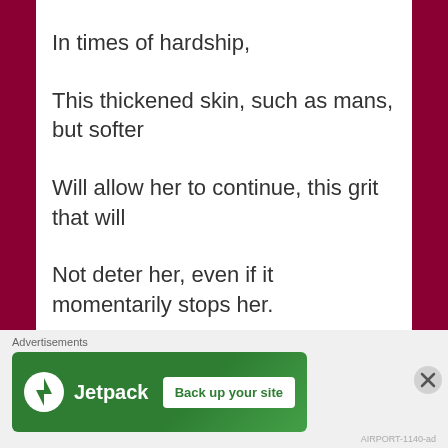In times of hardship,
This thickened skin, such as mans, but softer
Will allow her to continue, this grit that will
Not deter her, even if it momentarily stops her.
This toughness will be done
Advertisements
[Figure (other): Jetpack advertisement banner with 'Back up your site' button on green background]